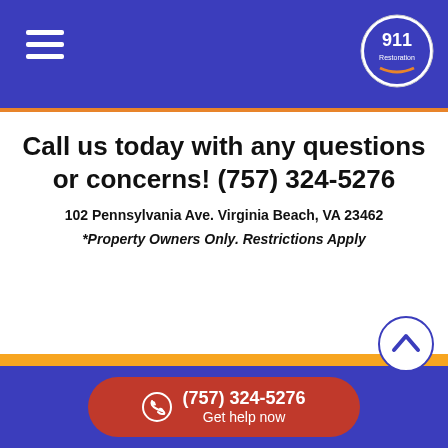[Figure (logo): 911 Restoration logo in top right corner, circular badge]
Call us today with any questions or concerns! (757) 324-5276
102 Pennsylvania Ave. Virginia Beach, VA 23462
*Property Owners Only. Restrictions Apply
Aydlett | Barco | Camden | Cape Charles | Capeville | Chesapeake | Corolla | Currituck | Dam Neck | Duck | Elizabeth City | Fort Eustis | Franklin | Hampton | Hurricane Damage Virginia Beach | Kill Devil Hills | Kitty Hawk | Knotts Island | Jamestown | Maple | Manteo | Nags Head | Newport News | Norfolk | Portsmouth | Poquoson | Salem | Smithfield | Suffolk | Surry | Virginia Beach | Wanchese | Williamsburg | Windsor | Yorktown
(757) 324-5276 Get help now